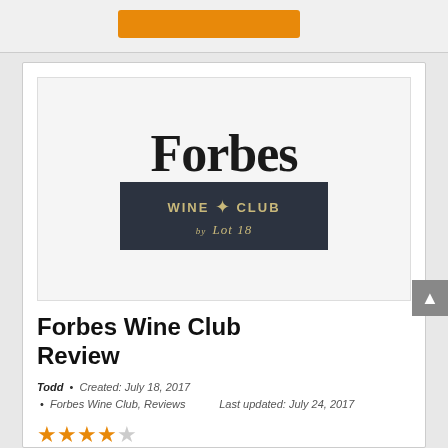[Figure (logo): Forbes Wine Club by Lot 18 logo — Forbes in large serif text above a dark navy banner reading WINE CLUB by Lot 18 in gold lettering]
Forbes Wine Club Review
Todd • Created: July 18, 2017 Last updated: July 24, 2017 • Forbes Wine Club, Reviews
★★★★☆
When you're looking to buy wine via a wine of the month club, your biggest hope or